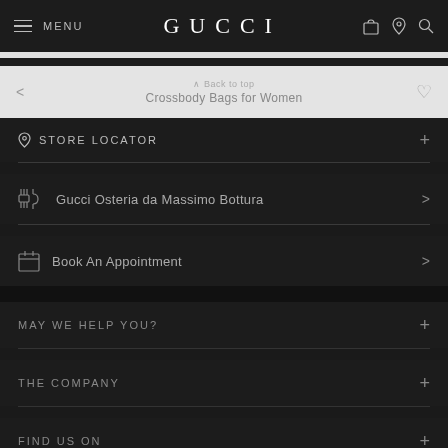MENU | GUCCI
Back to top
Crossbody Bags for Women
STORE LOCATOR
Gucci Osteria da Massimo Bottura
Book An Appointment
MAY WE HELP YOU?
THE COMPANY
FIND US ON